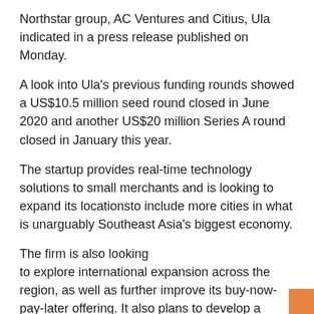Northstar group, AC Ventures and Citius, Ula indicated in a press release published on Monday.
A look into Ula's previous funding rounds showed a US$10.5 million seed round closed in June 2020 and another US$20 million Series A round closed in January this year.
The startup provides real-time technology solutions to small merchants and is looking to expand its locationsto include more cities in what is unarguably Southeast Asia's biggest economy.
The firm is also looking to explore international expansion across the region, as well as further improve its buy-now-pay-later offering. It also plans to develop a reliable local supply chain and logistics infrastructure.
As of today, Ula's platform is home to over 70,000 traditional stores, with over 6,000 different productsavailable.